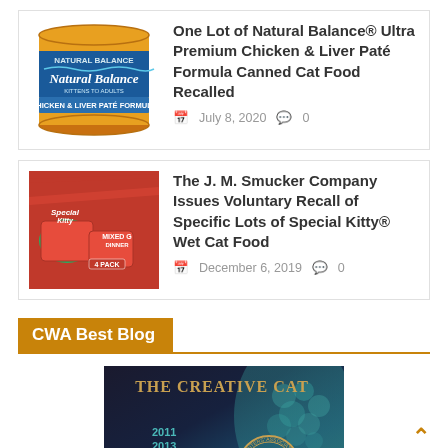[Figure (photo): Natural Balance Chicken & Liver Paté Formula canned cat food — orange and blue can]
One Lot of Natural Balance® Ultra Premium Chicken & Liver Paté Formula Canned Cat Food Recalled
July 8, 2020   0
[Figure (photo): Special Kitty Mixed Grill Dinner wet cat food 4-pack — red packaging]
The J. M. Smucker Company Issues Voluntary Recall of Specific Lots of Special Kitty® Wet Cat Food
December 6, 2019   0
CWA Best Blog
[Figure (photo): The Creative Cat blog award image showing years 2011, 2013, 2016, Cat Writers' Association award badge]